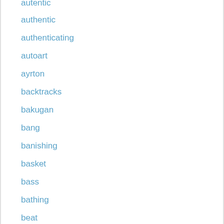autentic
authentic
authenticating
autoart
ayrton
backtracks
bakugan
bang
banishing
basket
bass
bathing
beat
beatles